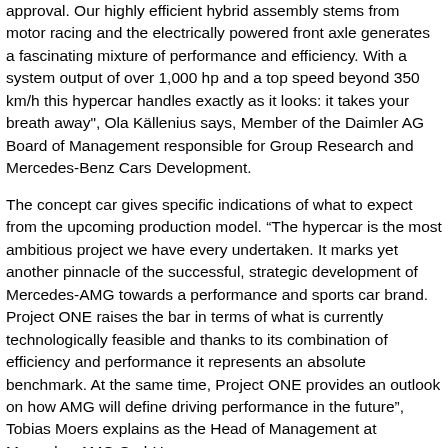approval. Our highly efficient hybrid assembly stems from motor racing and the electrically powered front axle generates a fascinating mixture of performance and efficiency. With a system output of over 1,000 hp and a top speed beyond 350 km/h this hypercar handles exactly as it looks: it takes your breath away", Ola Källenius says, Member of the Daimler AG Board of Management responsible for Group Research and Mercedes-Benz Cars Development.
The concept car gives specific indications of what to expect from the upcoming production model. “The hypercar is the most ambitious project we have every undertaken. It marks yet another pinnacle of the successful, strategic development of Mercedes-AMG towards a performance and sports car brand. Project ONE raises the bar in terms of what is currently technologically feasible and thanks to its combination of efficiency and performance it represents an absolute benchmark. At the same time, Project ONE provides an outlook on how AMG will define driving performance in the future”, Tobias Moers explains as the Head of Management at Mercedes-AMG GmbH.
Powertrain: one turbocharged engine and four electric motors
The high-performance plug-in hybrid drive system of the Mercedes-AMG Project ONE comes directly from Formula 1, and was realised in close cooperation with the motorsport experts of Mercedes-AMG High